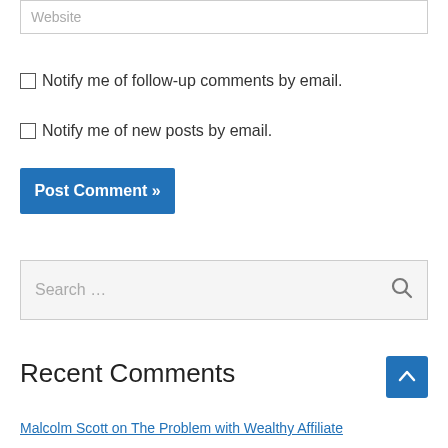Website
Notify me of follow-up comments by email.
Notify me of new posts by email.
Post Comment »
Search …
Recent Comments
Malcolm Scott on The Problem with Wealthy Affiliate